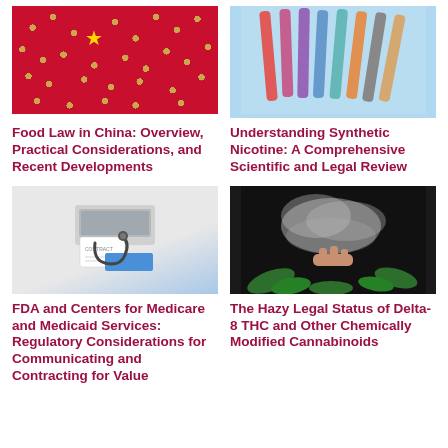[Figure (photo): Chinese flag with soybeans - Food Law in China article thumbnail]
Food Law in China: Overview, Practical Considerations, and Recent Developments
[Figure (photo): Colorful vape pens on blue background - Synthetic Nicotine article thumbnail]
Understanding Synthetic Nicotine: A Comprehensive Scientific and Legal Review
[Figure (photo): Stethoscope and contract documents - FDA and Centers for Medicare article thumbnail]
FDA and Centers for Medicare and Medicaid Services: Regulatory Considerations for Communicating and Contracting for Value
[Figure (photo): Hand with cannabis smoke and marijuana leaves - Delta-8 THC article thumbnail]
The Hazy Legal Status of Delta-8 THC and Other Chemically Modified Cannabinoids